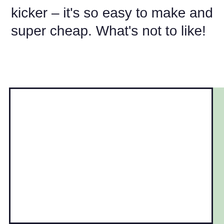kicker – it's so easy to make and super cheap. What's not to like!
[Figure (photo): A large empty white rectangular image box with a dark navy border, with a light green vertical strip on the right side.]